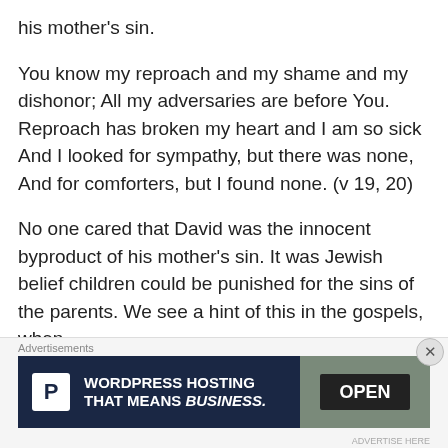his mother's sin.
You know my reproach and my shame and my dishonor; All my adversaries are before You. Reproach has broken my heart and I am so sick And I looked for sympathy, but there was none, And for comforters, but I found none. (v 19, 20)
No one cared that David was the innocent byproduct of his mother's sin. It was Jewish belief children could be punished for the sins of the parents. We see a hint of this in the gospels, when the disciples saw a man who had been born blind…
[Figure (other): Advertisement banner for WordPress Hosting with 'OPEN' sign image]